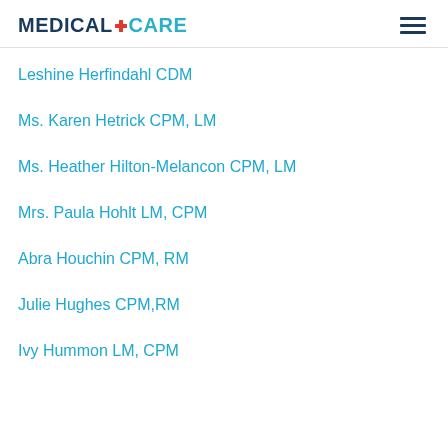MEDICALCARE
Leshine Herfindahl CDM
Ms. Karen Hetrick CPM, LM
Ms. Heather Hilton-Melancon CPM, LM
Mrs. Paula Hohlt LM, CPM
Abra Houchin CPM, RM
Julie Hughes CPM,RM
Ivy Hummon LM, CPM